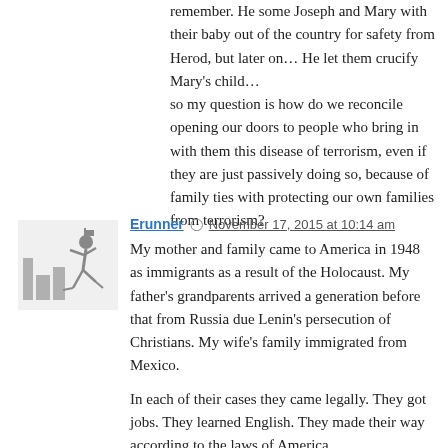remember. He some Joseph and Mary with their baby out of the country for safety from Herod, but later on… He let them crucify Mary's child…
so my question is how do we reconcile opening our doors to people who bring in with them this disease of terrorism, even if they are just passively doing so, because of family ties with protecting our own families from terrorism?
[Figure (illustration): Gray avatar/user icon showing a person running or moving, with cityscape silhouette in background]
Erunner  November 17, 2015 at 10:14 am
My mother and family came to America in 1948 as immigrants as a result of the Holocaust. My father's grandparents arrived a generation before that from Russia due Lenin's persecution of Christians. My wife's family immigrated from Mexico.
In each of their cases they came legally. They got jobs. They learned English. They made their way according to the laws of America.
My mother's family spent eight years in Shanghai from 1940 –